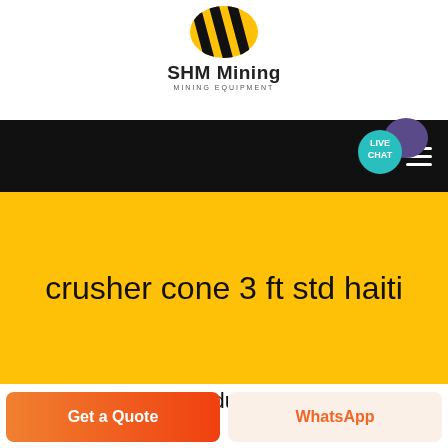[Figure (logo): SHM Mining logo with yellow and black diagonal stripe icon, company name 'SHM Mining' and subtitle 'MINING EQUIPMENT']
crusher cone 3 ft std haiti
We package the products with best